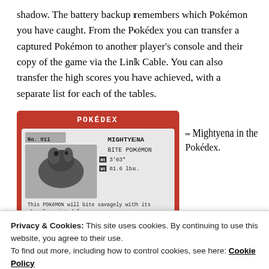shadow. The battery backup remembers which Pokémon you have caught. From the Pokédex you can transfer a captured Pokémon to another player's console and their copy of the game via the Link Cable. You can also transfer the high scores you have achieved, with a separate list for each of the tables.
[Figure (screenshot): Screenshot of Pokédex entry for Mightyena (No. 011), showing it as a BITE POKÉMON, Ht: 3'03", Wt: 81.6 lbs., with flavor text: This POKÉMON will bite savagely with its sharply pointed fangs.]
– Mightyena in the Pokédex.
link cable.
Privacy & Cookies: This site uses cookies. By continuing to use this website, you agree to their use.
To find out more, including how to control cookies, see here: Cookie Policy
Close and accept